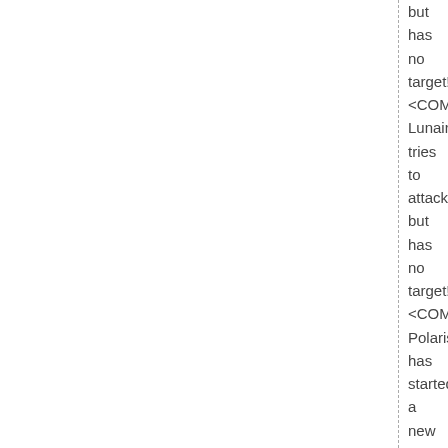but has no target! <COMBAT> Lunair tries to attack but has no target! <COMBAT> Polaris has started a new turn. Pose and choose your action.